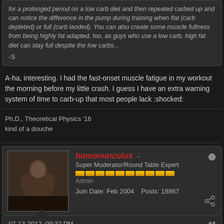for a prolonged period on a low carb diet and then repeated carbed up and can notice the difference in the pump during training when flat (carb depleted) or full (carb laoded). You can also create some muscle fullness from being highly fat adapted, too, as guys who use a low carb, high fat diet can stay full despite the low carbs...
-S
A-ha, interesting. I had the fast-onset muscle fatigue in my workout the morning before my little crash. I guess I have an extra warning system of time to carb-up that most people lack :shocked:
Ph.D., Theoretical Physics '16
kind of a douche
homonunculus
Super Moderator/Round Table Expert
Admin
Join Date: Feb 2004    Posts: 18867
07-13-2012, 09:32 PM
#4